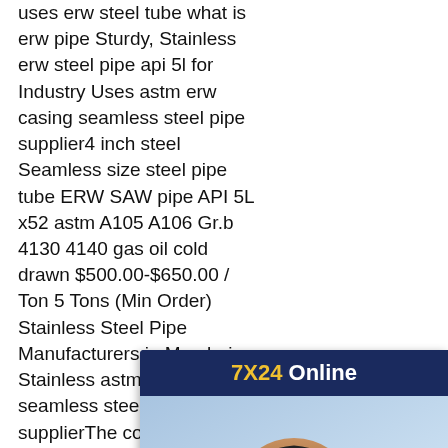uses erw steel tube what is erw pipe Sturdy, Stainless erw steel pipe api 5l for Industry Uses astm erw casing seamless steel pipe supplier4 inch steel Seamless size steel pipe tube ERW SAW pipe API 5L x52 astm A105 A106 Gr.b 4130 4140 gas oil cold drawn $500.00-$650.00 / Ton 5 Tons (Min Order) Stainless Steel Pipe Manufacturers in Mumbai Stainless astm erw casing seamless steel pipe supplierThe cornerstone of Steel Pipe Sourcing laid down in the year 1993 which vision to cater to the requirements of the market related to the pipes and tubes. We, Steel Pipe Sourcing, are specialist Manufacturers , Exporters, Importers, Suppliers , Stockist, Dealer, Distributors and Traders of Seamless & ERW
[Figure (other): Live chat widget with '7X24 Online' header in navy and gold, a photo of a smiling customer service woman wearing a headset, text 'Hello, may I help you?' in white italic on navy background, and a yellow 'Get Latest Price' button.]